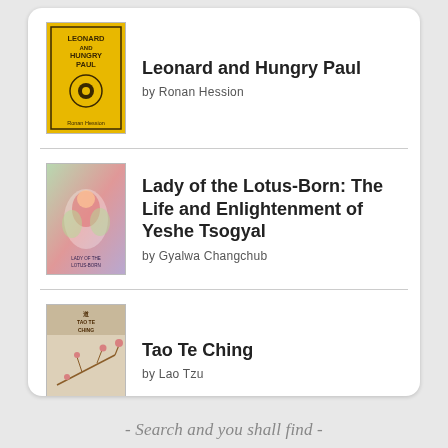[Figure (screenshot): Goodreads book list widget showing three books: Leonard and Hungry Paul by Ronan Hession, Lady of the Lotus-Born: The Life and Enlightenment of Yeshe Tsogyal by Gyalwa Changchub, and Tao Te Ching by Lao Tzu, with a Goodreads button at the bottom.]
Leonard and Hungry Paul
by Ronan Hession
Lady of the Lotus-Born: The Life and Enlightenment of Yeshe Tsogyal
by Gyalwa Changchub
Tao Te Ching
by Lao Tzu
goodreads°
- Search and you shall find -